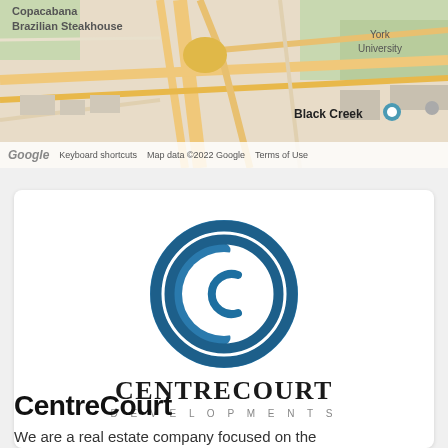[Figure (map): Google Maps screenshot showing area near Black Creek and York University, with roads and landmarks visible. Partial text visible: 'Copacabana Brazilian Steakhouse', 'Black Creek', 'York University'.]
Google  Keyboard shortcuts  Map data ©2022 Google  Terms of Use
[Figure (logo): CentreCourt Developments logo: a circular blue icon with a stylized 'C' inside concentric arcs, above the text 'CENTRECOURT' in bold serif and 'DEVELOPMENTS' in spaced sans-serif caps.]
CentreCourt
We are a real estate company focused on the